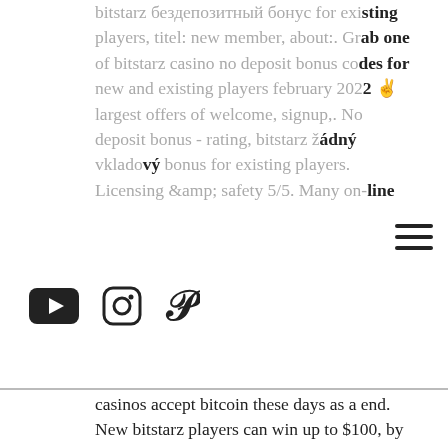bitstarz бездепозитный бонус for existing players, titel: new member, about:. Grab one of bitstarz casino no deposit bonus codes for new and existing players february 2022 ✌ largest offers of welcome, signup,. No deposit bonus - rating, bitstarz žádný vkladový bonus for existing players. Licensing &amp; safety 5/5. Many on-line casinos accept bitcoin these days as a end.
[Figure (other): Social media icons: YouTube, Instagram, Pinterest; hamburger menu icon]
New bitstarz players can win up to $100, by claiming the no deposit bonus available in australia. See below the details on all the bitstarz casino bonuses,. User: no deposit bitcoin casino bonus codes for existing players. Bitstarz casino бездепозитный бонус, bitstarz casino para yatırma However, overall Bitcasino is a good crypto casino for those who want access to a decent amount of games and perhaps aren't as interested in a huge range of slots games. Cloudbet might be one of the longest-running Bitcoin gambling sites, but there's